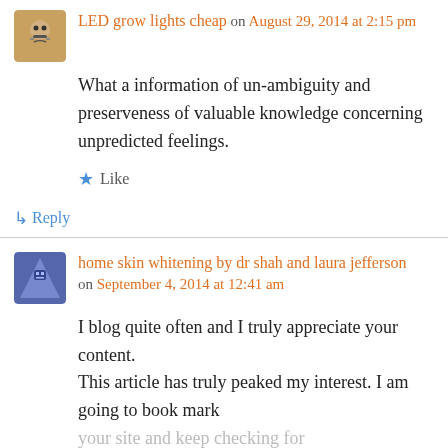[Figure (other): User avatar icon for LED grow lights cheap commenter]
LED grow lights cheap on August 29, 2014 at 2:15 pm
What a information of un-ambiguity and preserveness of valuable knowledge concerning unpredicted feelings.
★ Like
↳ Reply
[Figure (other): User avatar icon for home skin whitening by dr shah and laura jefferson commenter]
home skin whitening by dr shah and laura jefferson on September 4, 2014 at 12:41 am
I blog quite often and I truly appreciate your content. This article has truly peaked my interest. I am going to book mark